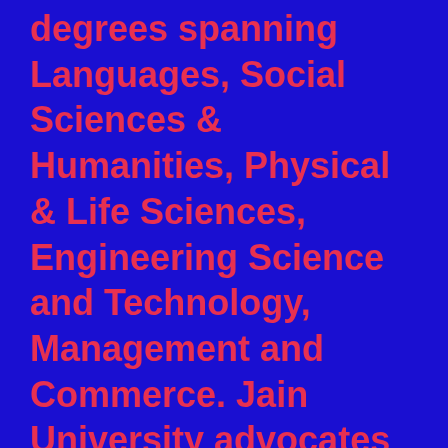degrees spanning Languages, Social Sciences & Humanities, Physical & Life Sciences, Engineering Science and Technology, Management and Commerce. Jain University advocates sports as an integral part of the curriculum in conformity with the holistic vision. Talented students who have reached national & international standards or in some instances played in leagues or clubs in any sport are provided academic support